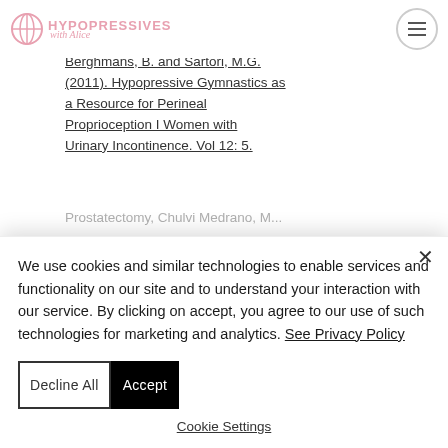HYPOPRESSIVES with Alice
Costa, T.F., Resende, A.P.M., Seleme, M.R., Berghmans, B. and Sartori, M.G. (2011). Hypopressive Gymnastics as a Resource for Perineal Proprioception I Women with Urinary Incontinence. Vol 12: 5.
Prostatectomy, Chulvi Medrano, M...
We use cookies and similar technologies to enable services and functionality on our site and to understand your interaction with our service. By clicking on accept, you agree to our use of such technologies for marketing and analytics. See Privacy Policy
Decline All
Accept
Cookie Settings